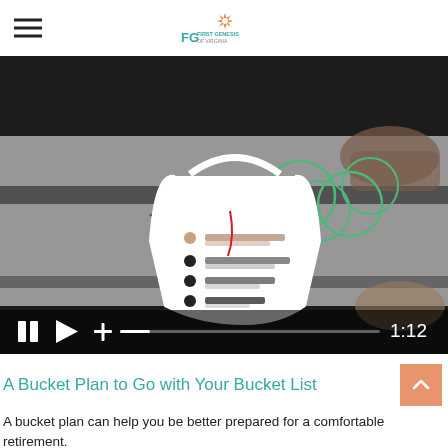First Genesis of Virginia
[Figure (screenshot): Video thumbnail showing a hand drawing a bucket with a checklist and trees on a tablet/paper surface. Video controls visible at bottom with pause, play, plus icons, a progress bar, and a time display of 1:12.]
A Bucket Plan to Go with Your Bucket List
A bucket plan can help you be better prepared for a comfortable retirement.